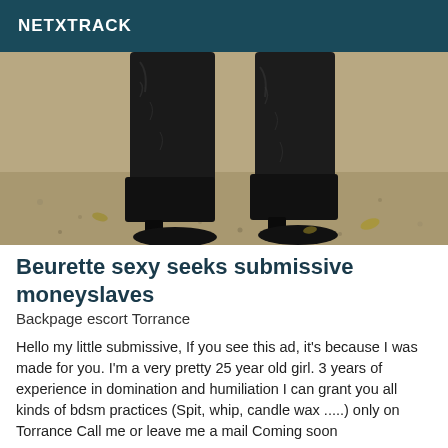NETXTRACK
[Figure (photo): Photograph showing the lower legs and feet of a person wearing tall black leather high-heeled boots, standing on a sandy/gravelly outdoor surface.]
Beurette sexy seeks submissive moneyslaves
Backpage escort Torrance
Hello my little submissive, If you see this ad, it's because I was made for you. I'm a very pretty 25 year old girl. 3 years of experience in domination and humiliation I can grant you all kinds of bdsm practices (Spit, whip, candle wax .....) only on Torrance Call me or leave me a mail Coming soon